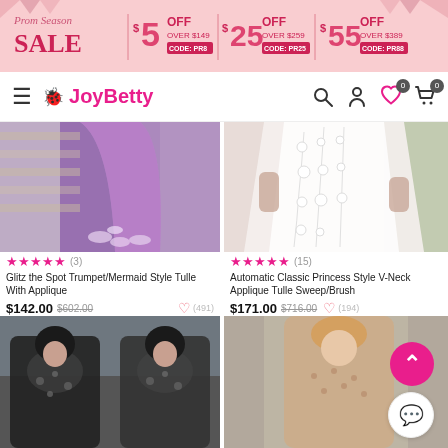[Figure (infographic): Prom Season Sale banner with pink background. $5 OFF OVER $149 CODE: PR8, $25 OFF OVER $259 CODE: PR25, $55 OFF OVER $389 CODE: PR88]
JoyBetty
[Figure (photo): Purple/lavender mermaid style tulle gown with white applique at bottom, against stone wall]
[Figure (photo): White/blush princess style tulle gown with floral applique, outdoor setting]
★★★★★ (3)
Glitz the Spot Trumpet/Mermaid Style Tulle With Applique
$142.00  $602.00  ♡ (491)
★★★★★ (15)
Automatic Classic Princess Style V-Neck Applique Tulle Sweep/Brush
$171.00  $716.00  ♡ (194)
[Figure (photo): Black lace applique gown with sheer bodice, model with dark hair, outdoor setting]
[Figure (photo): Beige/nude long sleeve lace gown, model with blonde hair]